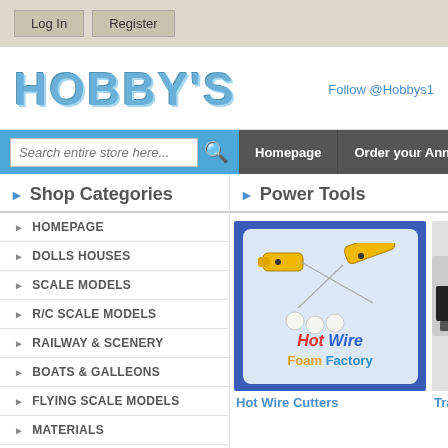Log In | Register
HOBBY'S
Follow @Hobbys1
Search entire store here...
Homepage | Order your Annual
Shop Categories
HOMEPAGE
DOLLS HOUSES
SCALE MODELS
R/C SCALE MODELS
RAILWAY & SCENERY
BOATS & GALLEONS
FLYING SCALE MODELS
MATERIALS
Power Tools
[Figure (photo): Hot Wire Cutters product image showing orange-handled hot wire cutting tools and foam balls on a white card background with a blue border, with 'Hot Wire Foam Factory' branding]
Hot Wire Cutters
Trans